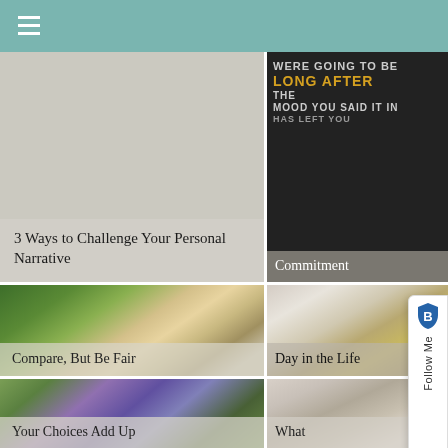[Figure (photo): Article card with light grey background showing title '3 Ways to Challenge Your Personal Narrative']
[Figure (photo): Dark background image with bold text 'WERE GOING TO BE LONG AFTER THE MOOD YOU SAID IT IN HAS LEFT YOU', with 'Commitment' overlay]
[Figure (photo): Selfie photo of woman and young child outdoors with green trees, with text overlay 'Compare, But Be Fair']
[Figure (photo): Photo of adult holding baby with toddler on wooden floor, with text overlay 'Day in the Life']
[Figure (photo): Close-up photo of purple wildflowers with text overlay 'Your Choices Add Up']
[Figure (photo): Photo of woman and child near white wall/window with text overlay 'What']